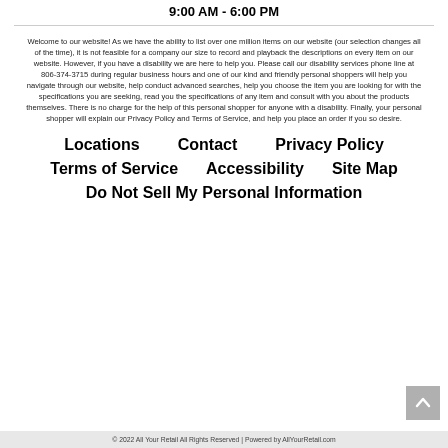9:00 AM - 6:00 PM
Welcome to our website! As we have the ability to list over one million items on our website (our selection changes all of the time), it is not feasible for a company our size to record and playback the descriptions on every item on our website. However, if you have a disability we are here to help you. Please call our disability services phone line at 806-374-3715 during regular business hours and one of our kind and friendly personal shoppers will help you navigate through our website, help conduct advanced searches, help you choose the item you are looking for with the specifications you are seeking, read you the specifications of any item and consult with you about the products themselves. There is no charge for the help of this personal shopper for anyone with a disability. Finally, your personal shopper will explain our Privacy Policy and Terms of Service, and help you place an order if you so desire.
Locations
Contact
Privacy Policy
Terms of Service
Accessibility
Site Map
Do Not Sell My Personal Information
© 2022 All Your Retail All Rights Reserved | Powered by AllYourRetail.com